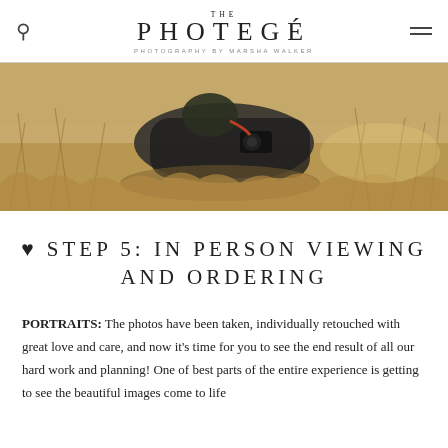THE PHOTEGÉ — PHOTOGRAPHY BY MARSHA WALKER
[Figure (photo): A photographer lying in tall golden grass in a field, holding a camera, viewed from the side]
♥ STEP 5: IN PERSON VIEWING AND ORDERING
PORTRAITS: The photos have been taken, individually retouched with great love and care, and now it's time for you to see the end result of all our hard work and planning! One of best parts of the entire experience is getting to see the beautiful images come to life